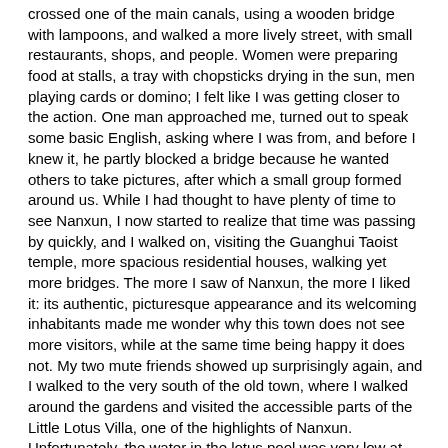crossed one of the main canals, using a wooden bridge with lampoons, and walked a more lively street, with small restaurants, shops, and people. Women were preparing food at stalls, a tray with chopsticks drying in the sun, men playing cards or domino; I felt like I was getting closer to the action. One man approached me, turned out to speak some basic English, asking where I was from, and before I knew it, he partly blocked a bridge because he wanted others to take pictures, after which a small group formed around us. While I had thought to have plenty of time to see Nanxun, I now started to realize that time was passing by quickly, and I walked on, visiting the Guanghui Taoist temple, more spacious residential houses, walking yet more bridges. The more I saw of Nanxun, the more I liked it: its authentic, picturesque appearance and its welcoming inhabitants made me wonder why this town does not see more visitors, while at the same time being happy it does not. My two mute friends showed up surprisingly again, and I walked to the very south of the old town, where I walked around the gardens and visited the accessible parts of the Little Lotus Villa, one of the highlights of Nanxun. Unfortunately, the water in the lotus pool was very low at this time of year, most of the trees barren. On my way back to the bus station, I stopped at the former residence of Zhang Shiming. A surprisingly big courtyard provides access to various parts of the building, of which the French-style mansion with balcony, wrought iron, and big ballroom inside stands out in particular. Much of the building was constructed using material shipped directly from France. In fact, this was the largest privately owned building in the late Qing dynasty in China. The sun was sinking as I walked back, past the lampoon-covered walls, the canals and old stone bridges, back to where I had started my walking tour. The lampoons were being lit, and I was just in time for the bus that took me back to Hangzhou. The sun had already disappeared from sight, and Nanxun was covered by the blanket of the night.